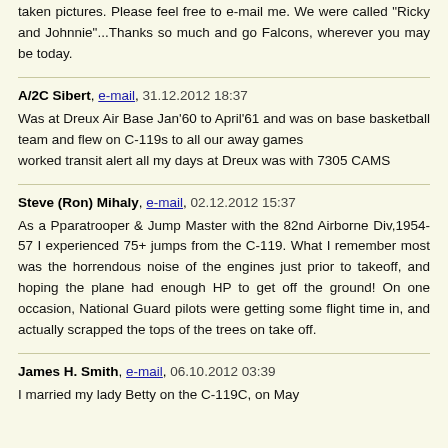taken pictures. Please feel free to e-mail me. We were called "Ricky and Johnnie"...Thanks so much and go Falcons, wherever you may be today.
A/2C Sibert, e-mail, 31.12.2012 18:37

Was at Dreux Air Base Jan'60 to April'61 and was on base basketball team and flew on C-119s to all our away games
worked transit alert all my days at Dreux was with 7305 CAMS
Steve (Ron) Mihaly, e-mail, 02.12.2012 15:37

As a Pparatrooper & Jump Master with the 82nd Airborne Div,1954-57 I experienced 75+ jumps from the C-119. What I remember most was the horrendous noise of the engines just prior to takeoff, and hoping the plane had enough HP to get off the ground! On one occasion, National Guard pilots were getting some flight time in, and actually scrapped the tops of the trees on take off.
James H. Smith, e-mail, 06.10.2012 03:39

I married my lady Betty on the C-119C, on May